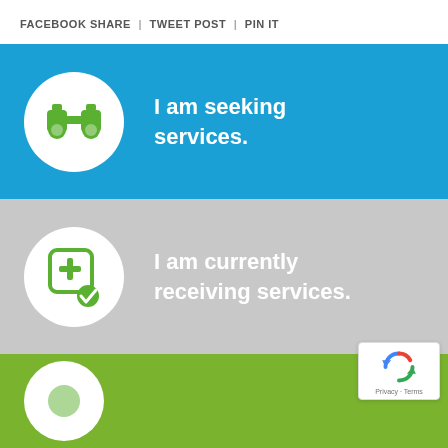FACEBOOK SHARE | TWEET POST | PIN IT
[Figure (infographic): Blue section with binoculars icon in white circle and text 'I am seeking services.']
[Figure (infographic): Gray section with medical/services icon in white circle and text 'I am currently receiving services.']
[Figure (infographic): Green section with partial white circle icon visible at bottom]